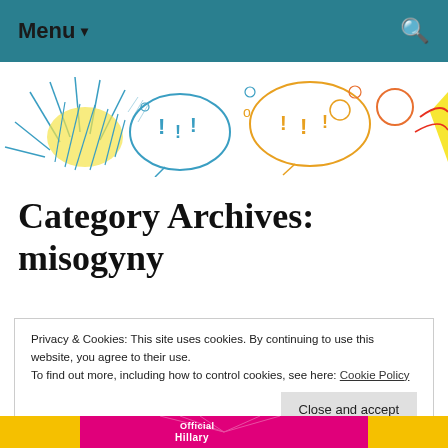Menu ▾
[Figure (illustration): Colorful hand-drawn doodle banner with speech bubbles, exclamation marks, circles, and abstract shapes in blue, yellow, orange, and red colors on white background]
Category Archives: misogyny
Privacy & Cookies: This site uses cookies. By continuing to use this website, you agree to their use.
To find out more, including how to control cookies, see here: Cookie Policy
Close and accept
[Figure (photo): Bottom strip showing a colorful graphic with pink/magenta and yellow colors, partially visible text reading 'Official Hillary']